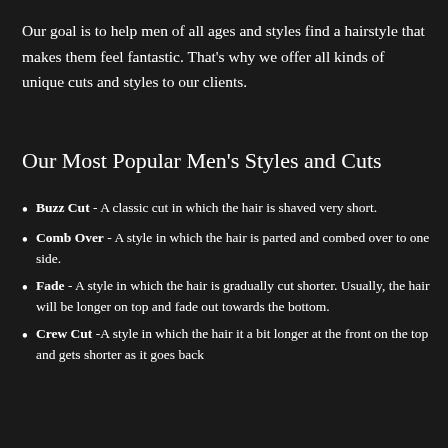Our goal is to help men of all ages and styles find a hairstyle that makes them feel fantastic. That's why we offer all kinds of unique cuts and styles to our clients.
Our Most Popular Men’s Styles and Cuts
Buzz Cut - A classic cut in which the hair is shaved very short.
Comb Over - A style in which the hair is parted and combed over to one side.
Fade - A style in which the hair is gradually cut shorter. Usually, the hair will be longer on top and fade out towards the bottom.
Crew Cut -A style in which the hair it a bit longer at the front on the top and gets shorter as it goes back